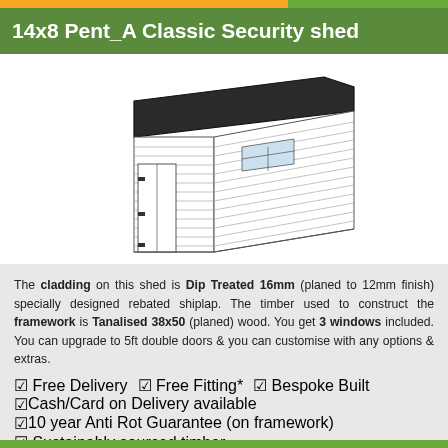14x8 Pent_A Classic Security shed
[Figure (illustration): Line drawing illustration of a 14x8 pent roof security shed with horizontal shiplap cladding, a single door with security hinges on the left side, a small window, and a sloped dark roof.]
The cladding on this shed is Dip Treated 16mm (planed to 12mm finish) specially designed rebated shiplap. The timber used to construct the framework is Tanalised 38x50 (planed) wood. You get 3 windows included. You can upgrade to 5ft double doors & you can customise with any options & extras.
Free Delivery   Free Fitting*   Bespoke Built
Cash/Card on Delivery available
10 year Anti Rot Guarantee (on framework)
Sustainably sourced timber   Guarantee against leaks